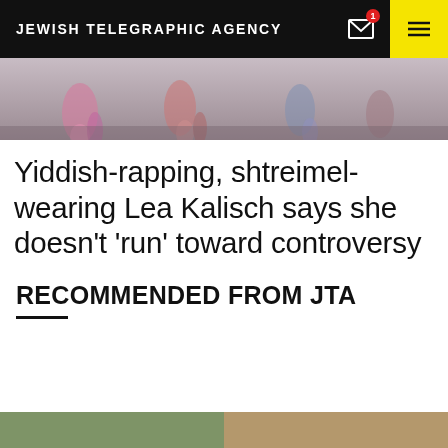JEWISH TELEGRAPHIC AGENCY
[Figure (photo): Blurred photo of runners' legs in motion, colorful clothing]
Yiddish-rapping, shtreimel-wearing Lea Kalisch says she doesn’t ‘run’ toward controversy
RECOMMENDED FROM JTA
[Figure (photo): Partial bottom strip of a photo, partially visible]